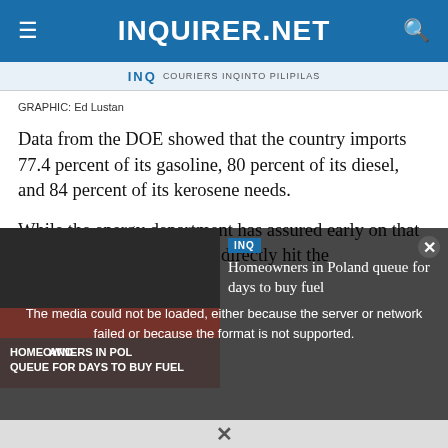INQUIRER.NET
GRAPHIC: Ed Lustan
Data from the DOE showed that the country imports 77.4 percent of its gasoline, 80 percent of its diesel, and 84 percent of its kerosene needs.
While the energy department has assured early on that oil supply issues might not directly hit the
[Figure (screenshot): Video player overlay showing 'The media could not be loaded, either because the server or network failed or because the format is not supported.' with a thumbnail showing homeowners in Poland queuing for fuel.]